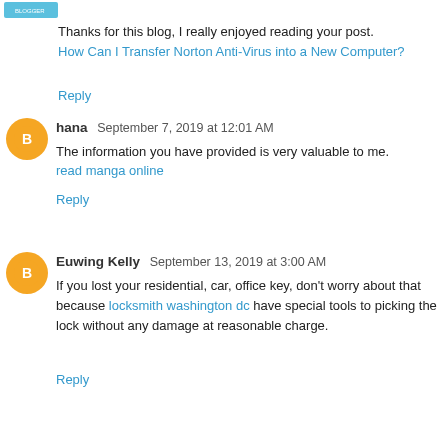[Figure (illustration): Small orange/blue avatar or banner image in top left corner]
Thanks for this blog, I really enjoyed reading your post.
How Can I Transfer Norton Anti-Virus into a New Computer?
Reply
hana  September 7, 2019 at 12:01 AM
The information you have provided is very valuable to me.
read manga online
Reply
Euwing Kelly  September 13, 2019 at 3:00 AM
If you lost your residential, car, office key, don't worry about that because locksmith washington dc have special tools to picking the lock without any damage at reasonable charge.
Reply